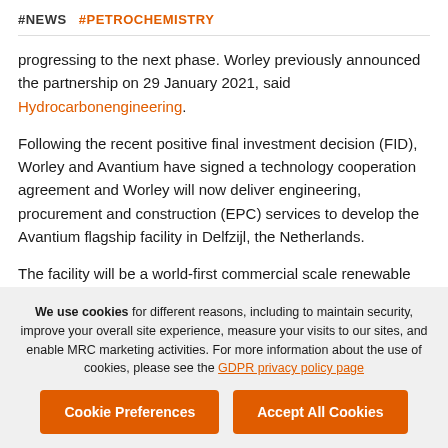#NEWS  #PETROCHEMISTRY
progressing to the next phase. Worley previously announced the partnership on 29 January 2021, said Hydrocarbonengineering.
Following the recent positive final investment decision (FID), Worley and Avantium have signed a technology cooperation agreement and Worley will now deliver engineering, procurement and construction (EPC) services to develop the Avantium flagship facility in Delfzijl, the Netherlands.
The facility will be a world-first commercial scale renewable plastics facility producing up to 5000 kilo tpy plant-based furandicarboxylic acid (FDCA). FDCA is a key building block for
We use cookies for different reasons, including to maintain security, improve your overall site experience, measure your visits to our sites, and enable MRC marketing activities. For more information about the use of cookies, please see the GDPR privacy policy page